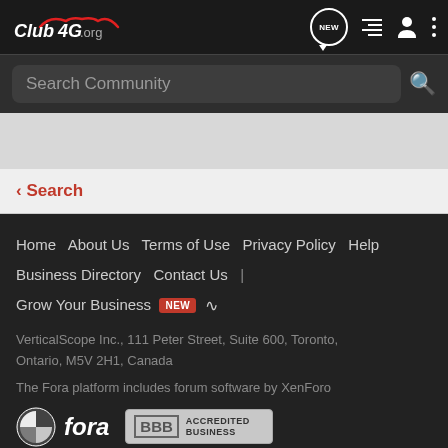Club4G.org navigation bar with logo and icons
Search Community
Search
Home  About Us  Terms of Use  Privacy Policy  Help  Business Directory  Contact Us  |  Grow Your Business  NEW
VerticalScope Inc., 111 Peter Street, Suite 600, Toronto, Ontario, M5V 2H1, Canada
The Fora platform includes forum software by XenForo
[Figure (logo): Fora logo and BBB Accredited Business badge]